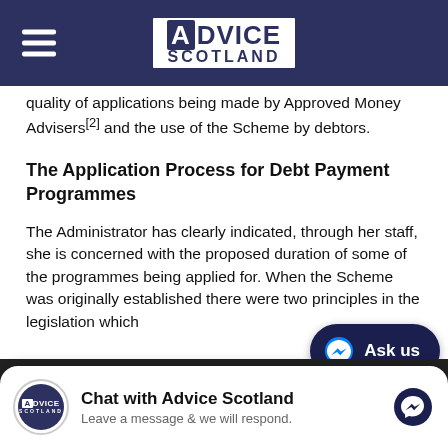Advice Scotland
quality of applications being made by Approved Money Advisers[2] and the use of the Scheme by debtors.
The Application Process for Debt Payment Programmes
The Administrator has clearly indicated, through her staff, she is concerned with the proposed duration of some of the programmes being applied for. When the Scheme was originally established there were two principles in the legislation which...
We are using cookies to give you the best experience on our website.
You can find out more about which cookies we are using or
Chat with Advice Scotland
Leave a message & we will respond.